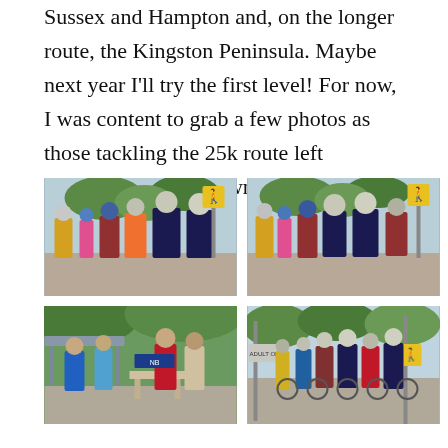Sussex and Hampton and, on the longer route, the Kingston Peninsula. Maybe next year I'll try the first level! For now, I was content to grab a few photos as those tackling the 25k route left Leonard's Gate in downtown Sussex.
[Figure (photo): Group of cyclists wearing helmets and cycling gear gathered at Leonard's Gate in downtown Sussex, viewed from behind. Yellow pedestrian crossing sign visible.]
[Figure (photo): Another angle of the group of cyclists at Leonard's Gate, viewed from behind. Yellow pedestrian crossing sign visible.]
[Figure (photo): Cyclists gathered under a shelter/canopy area at the start location, with registration or info table visible.]
[Figure (photo): Larger group of cyclists assembled at Leonard's Gate downtown Sussex, ready to start the 25k route. Yellow pedestrian crossing sign visible.]